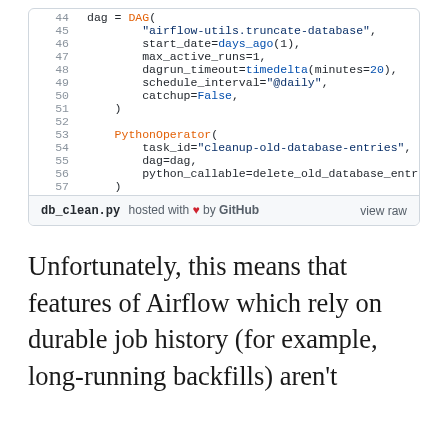[Figure (screenshot): Code block showing Python/Airflow DAG configuration lines 44-57, with a GitHub gist footer showing 'db_clean.py hosted with heart by GitHub' and 'view raw'.]
Unfortunately, this means that features of Airflow which rely on durable job history (for example, long-running backfills) aren't